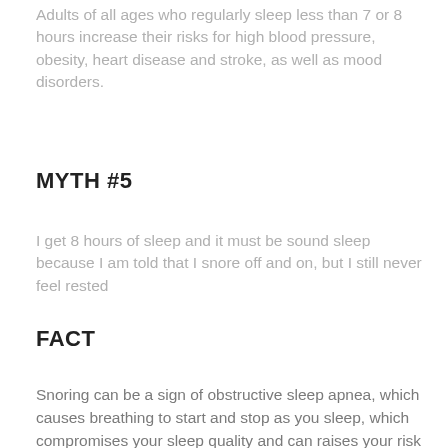Adults of all ages who regularly sleep less than 7 or 8 hours increase their risks for high blood pressure, obesity, heart disease and stroke, as well as mood disorders.
MYTH #5
I get 8 hours of sleep and it must be sound sleep because I am told that I snore off and on, but I still never feel rested
FACT
Snoring can be a sign of obstructive sleep apnea, which causes breathing to start and stop as you sleep, which compromises your sleep quality and can raises your risk of cardiovascular disease.  Have a discussion with your doctor if your sleep partner says that your snoring wakes them, your breathing seems to stop intermittently, you wake up short of